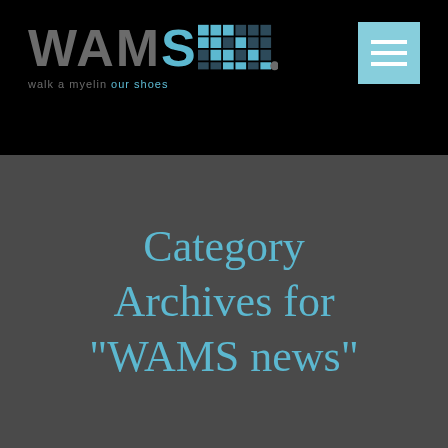[Figure (logo): WAMS logo with pixel art blocks and tagline 'walk a myelin our shoes' on black background, with hamburger menu icon in light blue]
Category Archives for "WAMS news"